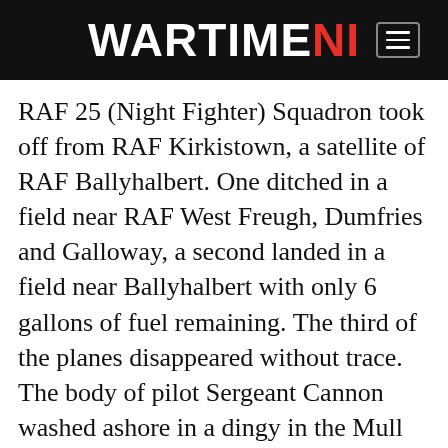WARTIME NI
RAF 25 (Night Fighter) Squadron took off from RAF Kirkistown, a satellite of RAF Ballyhalbert. One ditched in a field near RAF West Freugh, Dumfries and Galloway, a second landed in a field near Ballyhalbert with only 6 gallons of fuel remaining. The third of the planes disappeared without trace. The body of pilot Sergeant Cannon washed ashore in a dingy in the Mull of Galloway, Scotland. He died of exposure despite extensive searches from Avro Anson planes from RAF West Freugh, Dumfries and Galloway. In mid-May 1942